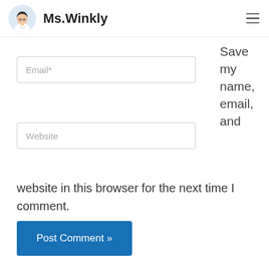Ms.Winkly
Save my name, email, and website in this browser for the next time I comment.
Email*
Website
Post Comment »